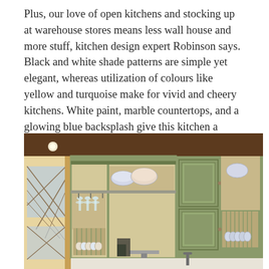Plus, our love of open kitchens and stocking up at warehouse stores means less wall house and more stuff, kitchen design expert Robinson says. Black and white shade patterns are simple yet elegant, whereas utilization of colours like yellow and turquoise make for vivid and cheery kitchens. White paint, marble countertops, and a glowing blue backsplash give this kitchen a youthful glow.
[Figure (photo): Interior photo of a kitchen showing open sage/olive green painted cabinets with plate racks, hanging wine glass rack, closed cabinet doors with raised panels, dishes and glassware visible on shelves, warm wood ceiling beams, lattice windows in the background.]